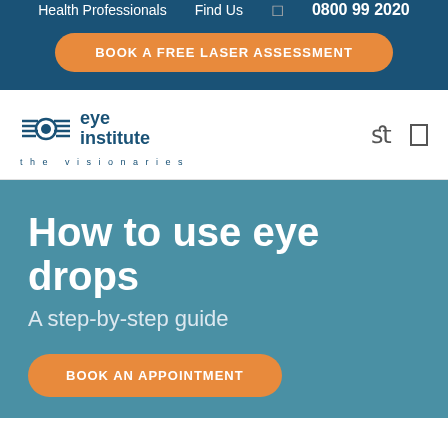Health Professionals   Find Us   0800 99 2020
BOOK A FREE LASER ASSESSMENT
[Figure (logo): Eye Institute logo with horizontal lines forming eye shape and 'eye institute the visionaries' text]
How to use eye drops
A step-by-step guide
BOOK AN APPOINTMENT